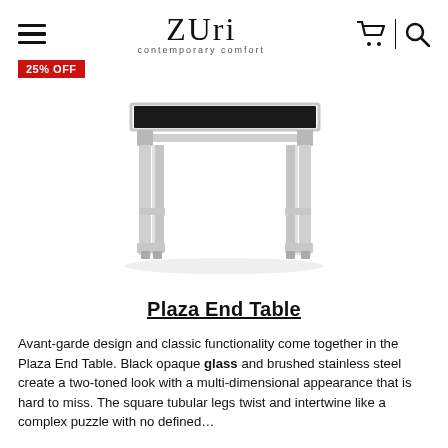Zuri contemporary comfort
25% OFF
[Figure (photo): Product photo of the Plaza End Table – a modern side table with a black opaque glass top and brushed stainless steel square tubular legs that intertwine in a geometric pattern, shown on a white background.]
Plaza End Table
Avant-garde design and classic functionality come together in the Plaza End Table. Black opaque glass and brushed stainless steel create a two-toned look with a multi-dimensional appearance that is hard to miss. The square tubular legs twist and intertwine like a complex puzzle with no defined…